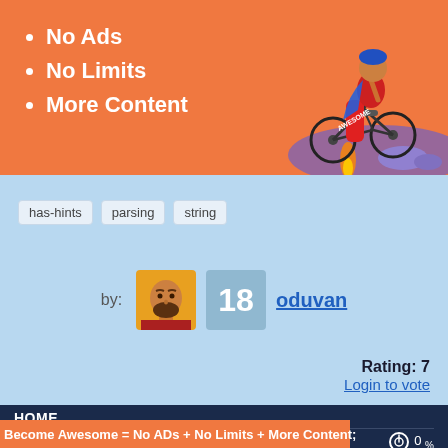[Figure (illustration): Orange promotional banner with animated cyclist character on right side and bullet list on left]
No Ads
No Limits
More Content
has-hints   parsing   string
by: 18 oduvan
Rating: 7
Login to vote
HOME
0   0 %
Become Awesome = No ADs + No Limits + More Content;